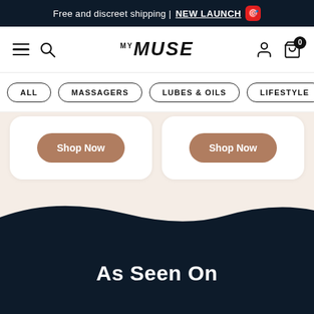Free and discreet shipping | NEW LAUNCH 🎯
[Figure (screenshot): MyMuse navigation bar with hamburger menu, search icon, MyMuse logo, user icon, and cart icon with badge 0]
ALL
MASSAGERS
LUBES & OILS
LIFESTYLE
Shop Now
Shop Now
As Seen On